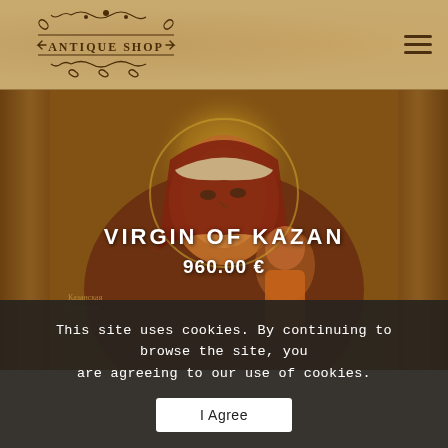ANTIQUE SHOP
[Figure (photo): Russian Orthodox icon painting of Virgin of Kazan (Казанская), showing the Madonna with child Jesus, with golden halos, in warm amber and red tones. The image has wooden side panels visible on left and right edges.]
VIRGIN OF KAZAN
960.00 €
This site uses cookies. By continuing to browse the site, you are agreeing to our use of cookies.
I Agree